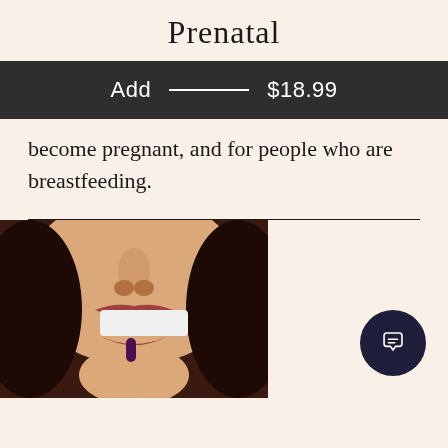Prenatal
Add — $18.99
become pregnant, and for people who are breastfeeding.
[Figure (photo): Close-up photo of a smiling woman with curly dark hair holding a small dark capsule/pill up to her mouth.]